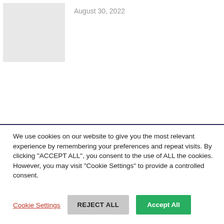[Figure (other): Gray placeholder image box in top-left corner]
August 30, 2022
We use cookies on our website to give you the most relevant experience by remembering your preferences and repeat visits. By clicking “ACCEPT ALL”, you consent to the use of ALL the cookies. However, you may visit "Cookie Settings" to provide a controlled consent.
Cookie Settings
REJECT ALL
Accept All